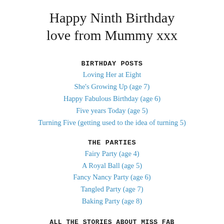Happy Ninth Birthday love from Mummy xxx
BIRTHDAY POSTS
Loving Her at Eight
She's Growing Up (age 7)
Happy Fabulous Birthday (age 6)
Five years Today (age 5)
Turning Five (getting used to the idea of turning 5)
THE PARTIES
Fairy Party (age 4)
A Royal Ball (age 5)
Fancy Nancy Party (age 6)
Tangled Party (age 7)
Baking Party (age 8)
ALL THE STORIES ABOUT MISS FAB
[Click Here]